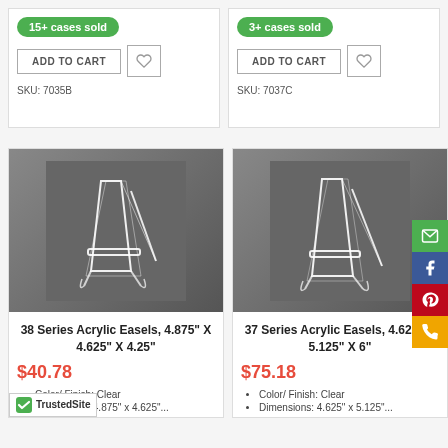[Figure (screenshot): Product listing page showing acrylic easels for sale with badges, add to cart buttons, prices, and product images]
15+ cases sold
ADD TO CART
SKU: 7035B
3+ cases sold
ADD TO CART
SKU: 7037C
38 Series Acrylic Easels, 4.875" X 4.625" X 4.25"
$40.78
Color/ Finish: Clear
Dimensions: 4.875" x 4.625"...
37 Series Acrylic Easels, 4.625" X 5.125" X 6"
$75.18
Color/ Finish: Clear
Dimensions: 4.625" x 5.125"...